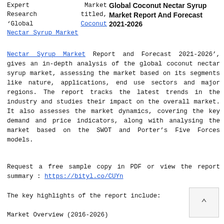Global Coconut Nectar Syrup Market Report And Forecast 2021-2026
Expert Market Research titled, 'Global Coconut Nectar Syrup Market Report and Forecast 2021-2026', gives an in-depth analysis of the global coconut nectar syrup market, assessing the market based on its segments like nature, applications, end use sectors and major regions. The report tracks the latest trends in the industry and studies their impact on the overall market. It also assesses the market dynamics, covering the key demand and price indicators, along with analysing the market based on the SWOT and Porter's Five Forces models.
Request a free sample copy in PDF or view the report summary : https://bityl.co/CUYn
The key highlights of the report include:
Market Overview (2016-2026)